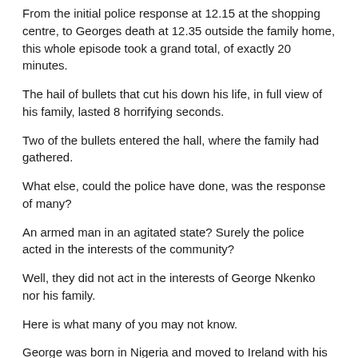From the initial police response at 12.15 at the shopping centre, to Georges death at 12.35 outside the family home, this whole episode took a grand total, of exactly 20 minutes.
The hail of bullets that cut his down his life, in full view of his family, lasted 8 horrifying seconds.
Two of the bullets entered the hall, where the family had gathered.
What else, could the police have done, was the response of many?
An armed man in an agitated state? Surely the police acted in the interests of the community?
Well, they did not act in the interests of George Nkenko nor his family.
Here is what many of you may not know.
George was born in Nigeria and moved to Ireland with his family at the age of seven.
A quiet unassuming person. A younger George, allowed his personality and his passion to express itself on the football pitch.